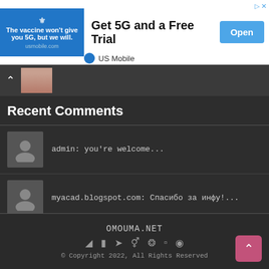[Figure (screenshot): Advertisement banner for US Mobile: blue left panel with eagle logo and text 'The vaccine won't give you 5G, but we will.' and URL usmobile.com. Center: 'Get 5G and a Free Trial'. Right: 'Open' button. Top-right corner: share icons. Bottom branding: US Mobile logo.]
[Figure (photo): Navigation bar with caret/chevron up icon on left and a partial face photo thumbnail on right, on dark background.]
Recent Comments
admin: you're welcome...
myacad.blogspot.com: Спасибо за инфу!...
OMOUMA.NET
© Copyright 2022, All Rights Reserved